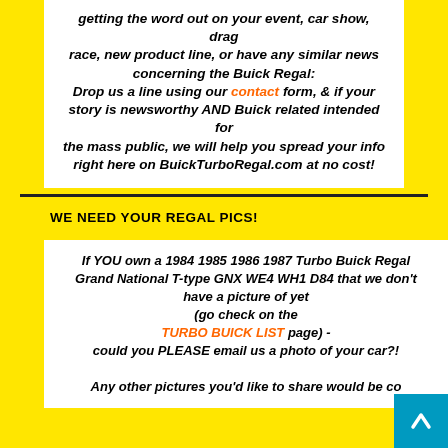getting the word out on your event, car show, drag race, new product line, or have any similar news concerning the Buick Regal: Drop us a line using our contact form, & if your story is newsworthy AND Buick related intended for the mass public, we will help you spread your info right here on BuickTurboRegal.com at no cost!
WE NEED YOUR REGAL PICS!
If YOU own a 1984 1985 1986 1987 Turbo Buick Regal Grand National T-type GNX WE4 WH1 D84 that we don't have a picture of yet (go check on the TURBO BUICK LIST page) - could you PLEASE email us a photo of your car?! Any other pictures you'd like to share would be co